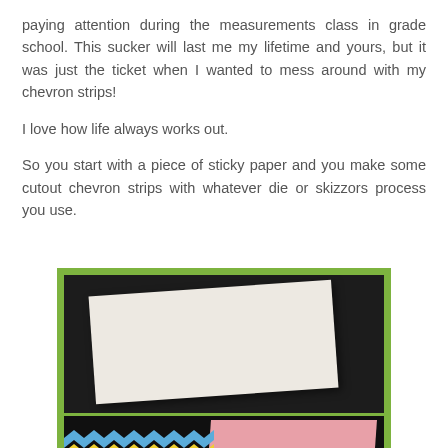paying attention during the measurements class in grade school. This sucker will last me my lifetime and yours, but it was just the ticket when I wanted to mess around with my chevron strips!

I love how life always works out.

So you start with a piece of sticky paper and you make some cutout chevron strips with whatever die or skizzors process you use.
[Figure (photo): Two photos stacked inside a green-bordered frame. Top photo: a white sheet of paper on a dark background. Bottom photo: colorful chevron-cut paper strips (blue, yellow, pink) alongside colored paper sheets on a dark surface.]